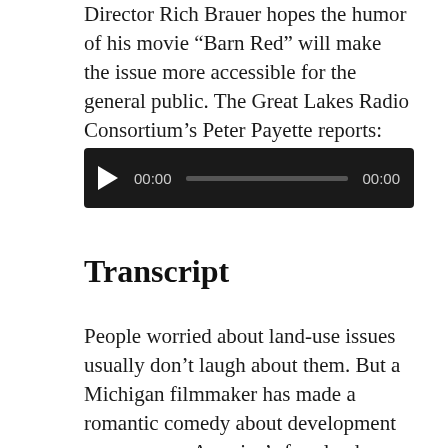Director Rich Brauer hopes the humor of his movie “Barn Red” will make the issue more accessible for the general public. The Great Lakes Radio Consortium’s Peter Payette reports:
[Figure (other): Audio player widget with dark background, play button, time display showing 00:00, progress bar, and duration showing 00:00]
Transcript
People worried about land-use issues usually don’t laugh about them. But a Michigan filmmaker has made a romantic comedy about development pressures on America’s farmland. Director Rich Brauer